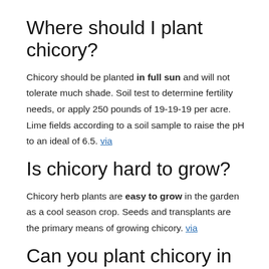Where should I plant chicory?
Chicory should be planted in full sun and will not tolerate much shade. Soil test to determine fertility needs, or apply 250 pounds of 19-19-19 per acre. Lime fields according to a soil sample to raise the pH to an ideal of 6.5. via
Is chicory hard to grow?
Chicory herb plants are easy to grow in the garden as a cool season crop. Seeds and transplants are the primary means of growing chicory. via
Can you plant chicory in your garden?
Chicory tolerates cold and can be grown for its roots anywhere in